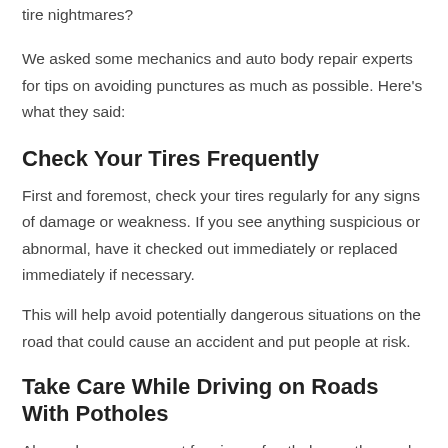tire nightmares?
We asked some mechanics and auto body repair experts for tips on avoiding punctures as much as possible. Here's what they said:
Check Your Tires Frequently
First and foremost, check your tires regularly for any signs of damage or weakness. If you see anything suspicious or abnormal, have it checked out immediately or replaced immediately if necessary.
This will help avoid potentially dangerous situations on the road that could cause an accident and put people at risk.
Take Care While Driving on Roads With Potholes
Always keep an eye out for signs of potholes on the road while